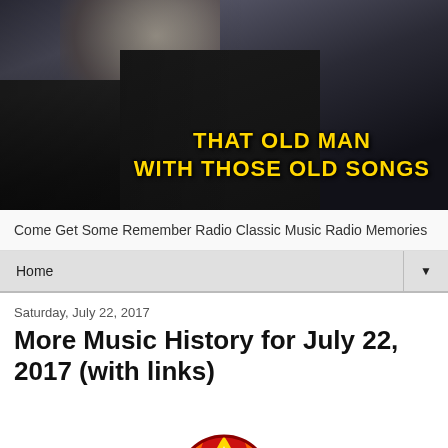[Figure (photo): Hero banner image showing an older man in a dark jacket/shirt, partially cropped, with yellow bold text overlay reading 'THAT OLD MAN WITH THOSE OLD SONGS' on a dark background]
Come Get Some Remember Radio Classic Music Radio Memories
Home
Saturday, July 22, 2017
More Music History for July 22, 2017 (with links)
[Figure (logo): Partial circular logo with red, orange, and yellow flame/sun design, cropped at bottom of page]